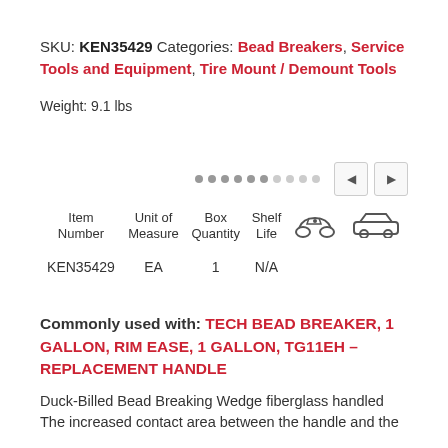SKU: KEN35429 Categories: Bead Breakers, Service Tools and Equipment, Tire Mount / Demount Tools
Weight: 9.1 lbs
| Item Number | Unit of Measure | Box Quantity | Shelf Life | [ATV icon] | [Car icon] |
| --- | --- | --- | --- | --- | --- |
| KEN35429 | EA | 1 | N/A |  |  |
Commonly used with: TECH BEAD BREAKER, 1 GALLON, RIM EASE, 1 GALLON, TG11EH – REPLACEMENT HANDLE
Duck-Billed Bead Breaking Wedge fiberglass handled The increased contact area between the handle and the